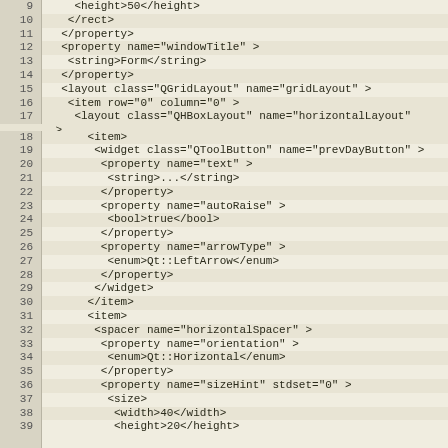[Figure (screenshot): XML/UI source code listing showing lines 9-39 of a Qt Designer .ui file with line numbers on the left and syntax-highlighted XML on the right, featuring elements like property, layout, item, widget, and spacer tags on a tan/beige background.]